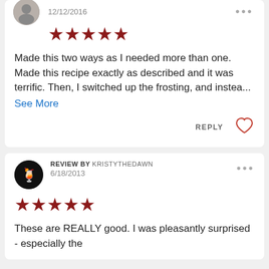[Figure (photo): Circular avatar photo of a person, partially visible at top]
12/12/2016
[Figure (other): Five red star rating]
Made this two ways as I needed more than one. Made this recipe exactly as described and it was terrific. Then, I switched up the frosting, and instea...
See More
REPLY
[Figure (other): Heart/like icon outline]
REVIEW BY KRISTYTHEDAWN
6/18/2013
[Figure (other): Five red star rating]
These are REALLY good. I was pleasantly surprised - especially the